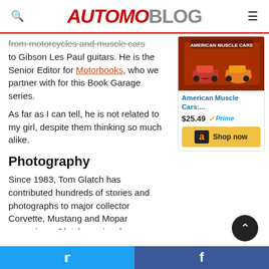AUTOMOBLOG
from motorcycles and muscle cars to Gibson Les Paul guitars. He is the Senior Editor for Motorbooks, who we partner with for this Book Garage series.
As far as I can tell, he is not related to my girl, despite them thinking so much alike.
[Figure (photo): Product image of American Muscle Cars book with cars on cover]
American Muscle Cars:...
$25.49 Prime
Shop now
Photography
Since 1983, Tom Glatch has contributed hundreds of stories and photographs to major collector Corvette, Mustang and Mopar magazines. Glatch previously
Twitter share | Facebook share